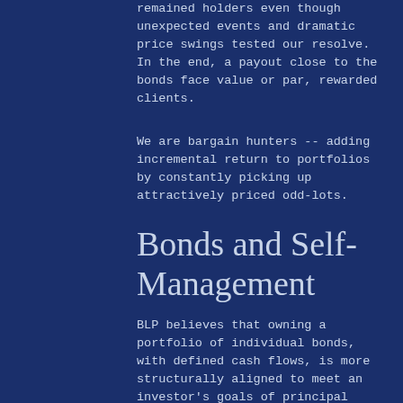remained holders even though unexpected events and dramatic price swings tested our resolve. In the end, a payout close to the bonds face value or par, rewarded clients.
We are bargain hunters -- adding incremental return to portfolios by constantly picking up attractively priced odd-lots.
Bonds and Self-Management
BLP believes that owning a portfolio of individual bonds, with defined cash flows, is more structurally aligned to meet an investor's goals of principal preservation, lower volatility, and more predictable outcomes. Bond funds do not allow for specific maturity dates or interest payments.